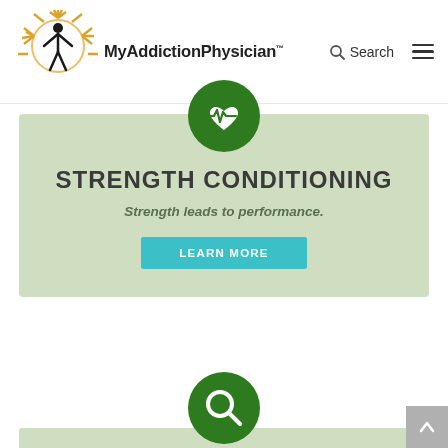[Figure (logo): MyAddictionPhysician logo with sun and human figure, with Search button and hamburger menu on the right]
[Figure (infographic): Green card with heart-rate monitor icon circle on top, title STRENGTH CONDITIONING, subtitle Strength leads to performance., and a teal LEARN MORE button]
[Figure (infographic): Bottom section showing green search icon circle overlapping a light green card background, with a grey back-to-top arrow button at bottom right]